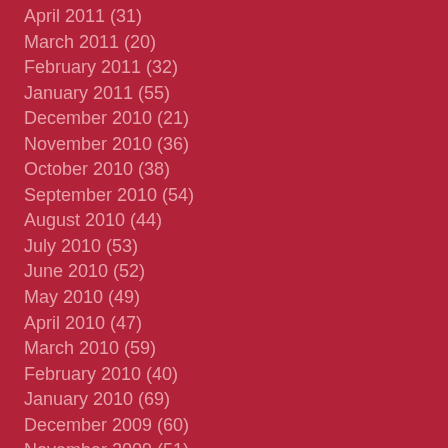April 2011 (31)
March 2011 (20)
February 2011 (32)
January 2011 (55)
December 2010 (21)
November 2010 (36)
October 2010 (38)
September 2010 (54)
August 2010 (44)
July 2010 (53)
June 2010 (52)
May 2010 (49)
April 2010 (47)
March 2010 (59)
February 2010 (40)
January 2010 (69)
December 2009 (60)
November 2009 (51)
October 2009 (61)
September 2009 (74)
August 2009 (58)